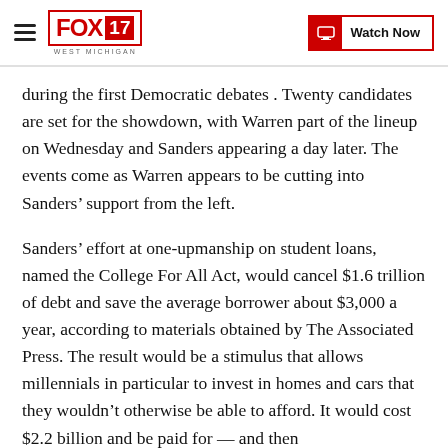FOX 17 WEST MICHIGAN | Watch Now
during the first Democratic debates . Twenty candidates are set for the showdown, with Warren part of the lineup on Wednesday and Sanders appearing a day later. The events come as Warren appears to be cutting into Sanders’ support from the left.
Sanders’ effort at one-upmanship on student loans, named the College For All Act, would cancel $1.6 trillion of debt and save the average borrower about $3,000 a year, according to materials obtained by The Associated Press. The result would be a stimulus that allows millennials in particular to invest in homes and cars that they wouldn’t otherwise be able to afford. It would cost $2.2 billion and be paid for — and then